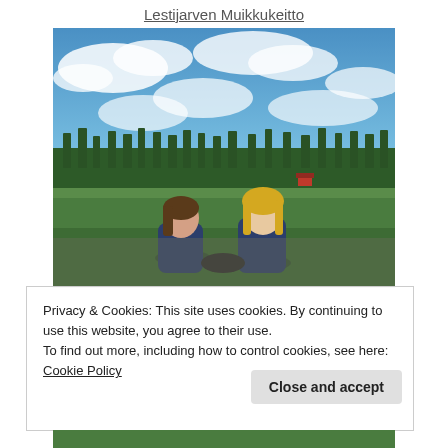Lestijarven Muikkukeitto
[Figure (photo): Two girls crouching outdoors examining something, with a green field, treeline, and blue sky with clouds in the background. A red building is visible in the distance.]
Privacy & Cookies: This site uses cookies. By continuing to use this website, you agree to their use.
To find out more, including how to control cookies, see here: Cookie Policy
Close and accept